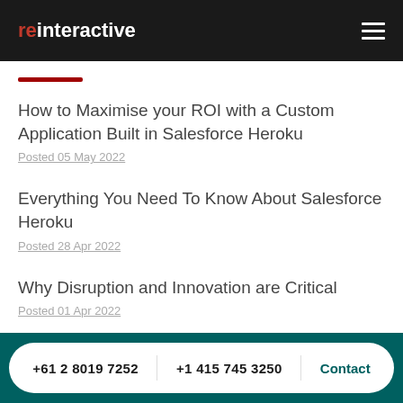reinteractive
How to Maximise your ROI with a Custom Application Built in Salesforce Heroku
Posted 05 May 2022
Everything You Need To Know About Salesforce Heroku
Posted 28 Apr 2022
Why Disruption and Innovation are Critical
Posted 01 Apr 2022
Launching into 2022
Posted 24 Jan 2022
+61 2 8019 7252    +1 415 745 3250    Contact